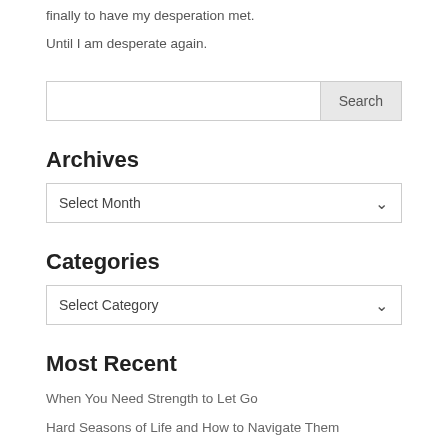finally to have my desperation met.
Until I am desperate again.
[Figure (screenshot): Search input box with Search button]
Archives
[Figure (screenshot): Archives dropdown: Select Month]
Categories
[Figure (screenshot): Categories dropdown: Select Category]
Most Recent
When You Need Strength to Let Go
Hard Seasons of Life and How to Navigate Them